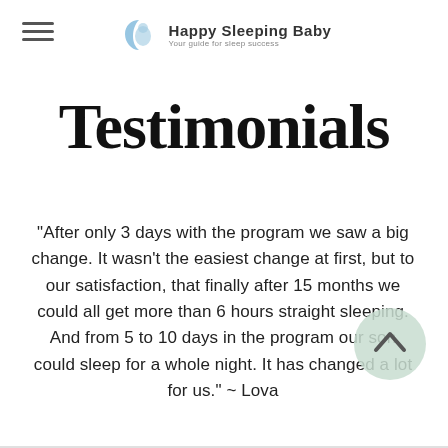Happy Sleeping Baby — Your guide for sleep success
Testimonials
"After only 3 days with the program we saw a big change. It wasn't the easiest change at first, but to our satisfaction, that finally after 15 months we could all get more than 6 hours straight sleeping. And from 5 to 10 days in the program our son could sleep for a whole night. It has changed a lot for us." ~ Lova